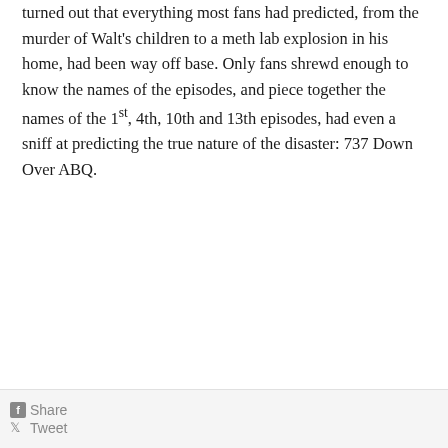turned out that everything most fans had predicted, from the murder of Walt's children to a meth lab explosion in his home, had been way off base. Only fans shrewd enough to know the names of the episodes, and piece together the names of the 1st, 4th, 10th and 13th episodes, had even a sniff at predicting the true nature of the disaster: 737 Down Over ABQ.
Share Tweet